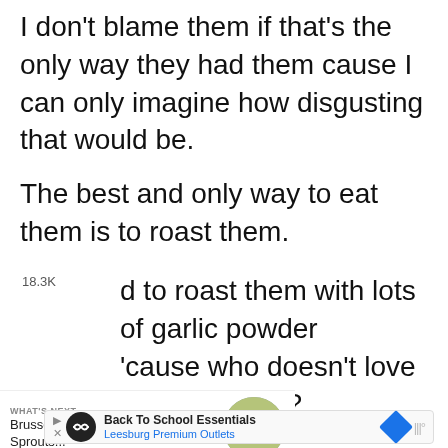I don't blame them if that's the only way they had them cause I can only imagine how disgusting that would be.
The best and only way to eat them is to roast them.
d to roast them with lots of garlic powder
'cause who doesn't love garlic powder?
[Figure (infographic): Heart/like button (purple circle with heart icon), 18.3K count label, and share button (light circle with share icon)]
[Figure (infographic): What's Next panel with arrow, 'Brussels Sprouts...' text and circular food thumbnail image]
[Figure (infographic): Advertisement banner: Back To School Essentials, Leesburg Premium Outlets, with icons]